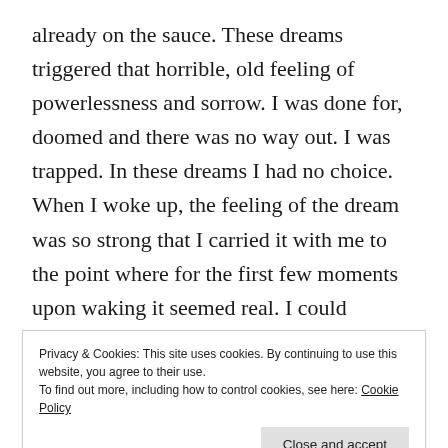already on the sauce. These dreams triggered that horrible, old feeling of powerlessness and sorrow. I was done for, doomed and there was no way out. I was trapped. In these dreams I had no choice. When I woke up, the feeling of the dream was so strong that I carried it with me to the point where for the first few moments upon waking it seemed real. I could physically feel the hangover. Then, I'd realise it was just a dream and I was still sober and the world was still as it should be, and it filled me with a renewed sense of gratitude. Thank
Privacy & Cookies: This site uses cookies. By continuing to use this website, you agree to their use.
To find out more, including how to control cookies, see here: Cookie Policy
Close and accept